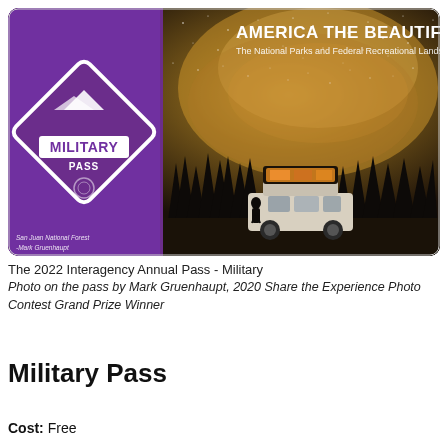[Figure (photo): America the Beautiful - The National Parks and Federal Recreational Lands Pass - Military Pass card. Purple card with diamond-shaped Military Pass logo showing mountain peaks. Background photo shows a vehicle with rooftop tent under the Milky Way night sky in a forest. Text on card reads 'AMERICA THE BEAUTIFUL', 'The National Parks and Federal Recreational Lands Pass', 'MILITARY PASS'. Bottom left corner credits: San Juan National Forest - Mark Gruenhaupt.]
The 2022 Interagency Annual Pass - Military
Photo on the pass by Mark Gruenhaupt, 2020 Share the Experience Photo Contest Grand Prize Winner
Military Pass
Cost: Free